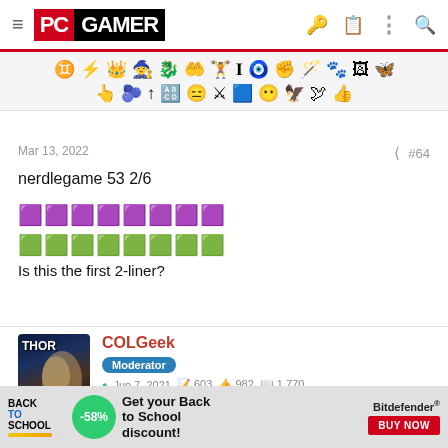PC GAMER
[Figure (illustration): A row of decorative game/RPG emoji icons including zodiac, lightning, crown, character, weapon, heart, figurine, letter I, eye, hand, wand, creature, portrait, wings, and various action icons]
Mar 13, 2022
#64
nerdlegame 53 2/6
🟪🟪🟪🟪🟪🟪🟪🟪
🟩🟩🟩🟩🟩🟩🟩🟩
Is this the first 2-liner?
COLGeek
Moderator
Jun 7, 2021  603  982  1,770
[Figure (photo): Advertisement: Back to School discount with -58% badge and Bitdefender Buy Now button]